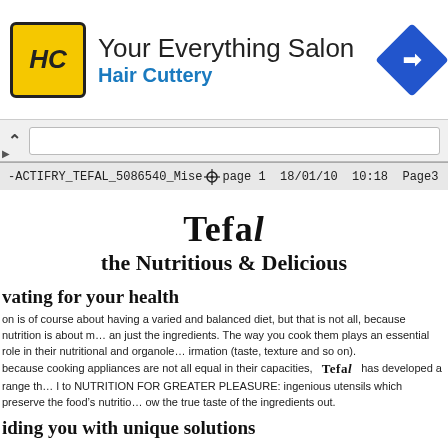[Figure (logo): Hair Cuttery advertisement banner: HC logo in yellow square, 'Your Everything Salon' heading, 'Hair Cuttery' subtitle in blue, navigation arrow icon]
-ACTIFRY_TEFAL_5086540_Mise ⌖ page 1  18/01/10  10:18  Page3
Tefal
the Nutritious & Delicious
vating for your health
on is of course about having a varied and balanced diet, but that is not all, because nutrition is about m… an just the ingredients. The way you cook them plays an essential role in their nutritional and organole… irmation (taste, texture and so on).
because cooking appliances are not all equal in their capacities,  Tefal  has developed a range th… l to NUTRITION FOR GREATER PLEASURE: ingenious utensils which preserve the food’s nutritio… ow the true taste of the ingredients out.
iding you with unique solutions
pL  makes considerable investment into research in order to create appliances with unique nutritional… hances which are then confirmed by scientific studies.
ping you informed
al